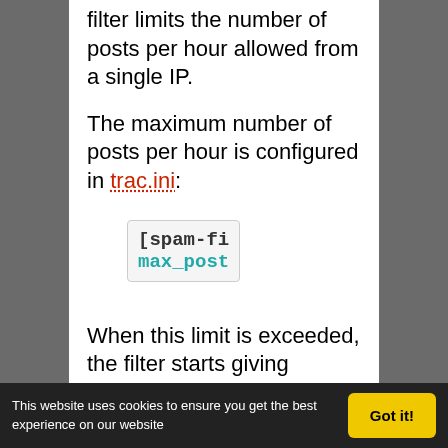filter limits the number of posts per hour allowed from a single IP.
The maximum number of posts per hour is configured in trac.ini:
[spam-fi
max_post
When this limit is exceeded, the filter starts giving submissions negative karma as specified by the ip_throttle_karma
This website uses cookies to ensure you get the best experience on our website